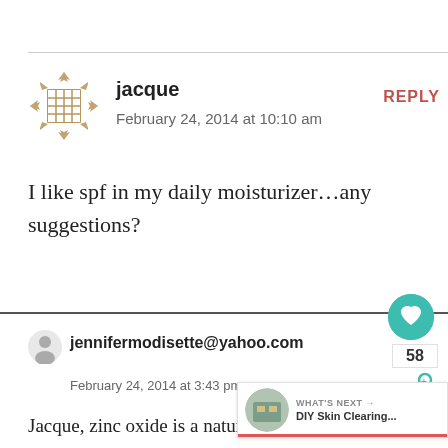jacque
February 24, 2014 at 10:10 am
REPLY
I like spf in my daily moisturizer…any suggestions?
jennifermodisette@yahoo.com
February 24, 2014 at 3:43 pm
REPLY
Jacque, zinc oxide is a natural spf and always